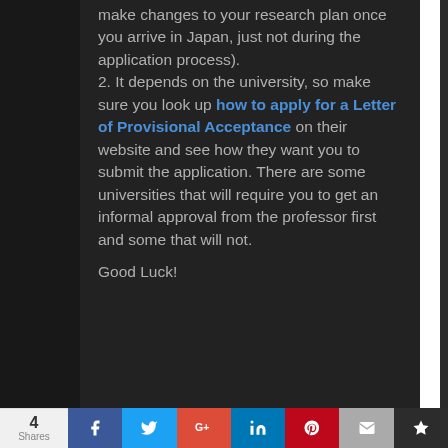make changes to your research plan once you arrive in Japan, just not during the application process). 2. It depends on the university, so make sure you look up how to apply for a Letter of Provisional Acceptance on their website and see how they want you to submit the application. There are some universities that will require you to get an informal approval from the professor first and some that will not. Good Luck!
4 Shares | Facebook | Twitter | Google+ | LinkedIn | Pinterest | Email | Bookmark